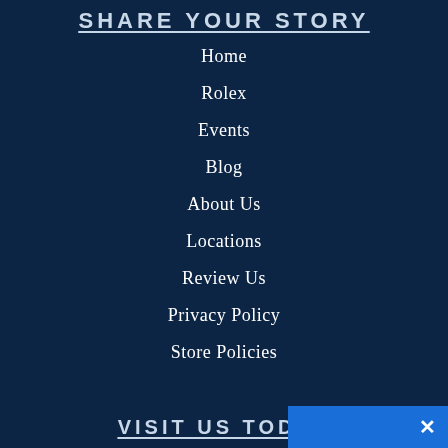SHARE YOUR STORY
Home
Rolex
Events
Blog
About Us
Locations
Review Us
Privacy Policy
Store Policies
VISIT US TODAY